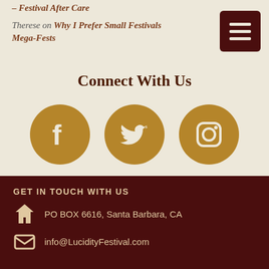– Festival After Care
Therese on Why I Prefer Small Festivals Mega-Fests
Connect With Us
[Figure (infographic): Three social media icons in golden-brown circles: Facebook (f), Twitter (bird), Instagram (camera)]
GET IN TOUCH WITH US
PO BOX 6616, Santa Barbara, CA
info@LucidityFestival.com